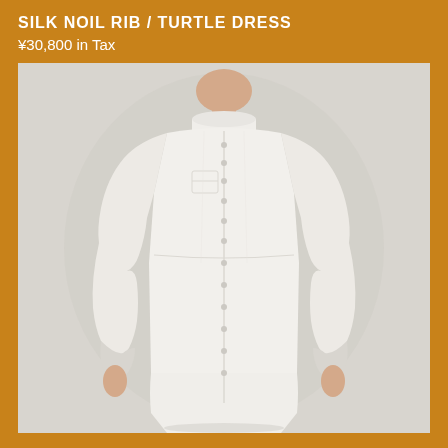SILK NOIL RIB / TURTLE DRESS
¥30,800 in Tax
[Figure (photo): A model wearing a long white button-front turtle neck dress with long sleeves and cuffed wrists, photographed against a light grey background. The dress is floor-length with a relaxed silhouette and chest pocket.]